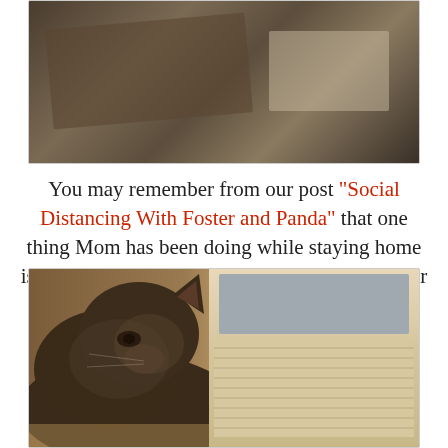[Figure (photo): Photo of papers/documents and boxes on a surface, partially visible at top of page]
You may remember from our post “Social Distancing With Foster and Panda” that one thing Mom has been doing while staying home is shredding stuff. With all this extra time on her hands, she decided it was the perfect time to organize. Or “declutter”, if you will.
[Figure (photo): Photo of a long-haired cat lying on a wooden floor next to old letters and documents in a binder/folder]